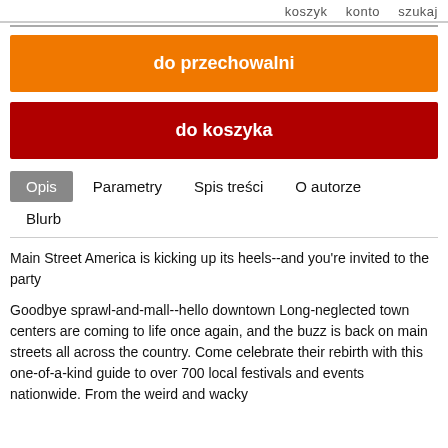koszyk  konto  szukaj
do przechowalni
do koszyka
Opis  Parametry  Spis treści  O autorze  Blurb
Main Street America is kicking up its heels--and you're invited to the party
Goodbye sprawl-and-mall--hello downtown Long-neglected town centers are coming to life once again, and the buzz is back on main streets all across the country. Come celebrate their rebirth with this one-of-a-kind guide to over 700 local festivals and events nationwide. From the weird and wacky